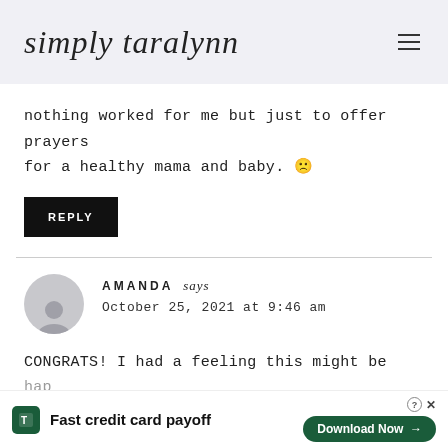simply taralynn
nothing worked for me but just to offer prayers for a healthy mama and baby. 🙁
REPLY
AMANDA says
October 25, 2021 at 9:46 am
CONGRATS! I had a feeling this might be happening...
[Figure (infographic): Tally app advertisement banner: Fast credit card payoff, Download Now button]